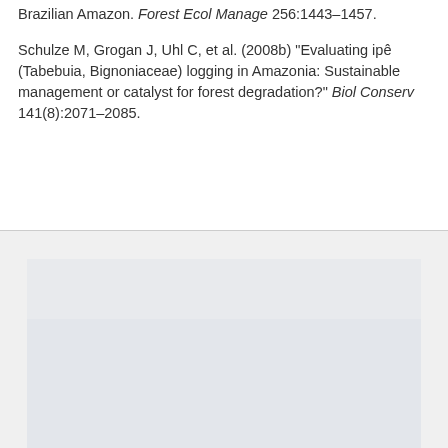Brazilian Amazon. Forest Ecol Manage 256:1443–1457.
Schulze M, Grogan J, Uhl C, et al. (2008b) "Evaluating ipê (Tabebuia, Bignoniaceae) logging in Amazonia: Sustainable management or catalyst for forest degradation?" Biol Conserv 141(8):2071–2085.
[Figure (other): Gray placeholder figure region at the bottom of the page, consisting of a lighter outer rectangle and a slightly darker inner rectangle, suggesting an image or figure content area.]